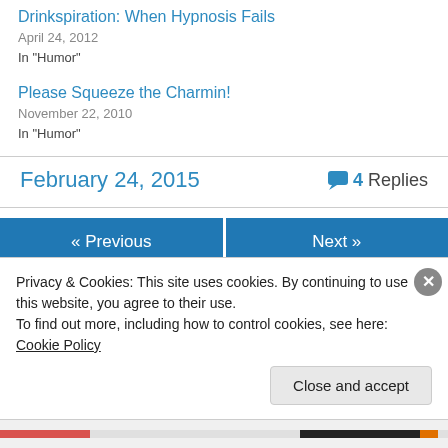Drinkspiration: When Hypnosis Fails
April 24, 2012
In "Humor"
Please Squeeze the Charmin!
November 22, 2010
In "Humor"
February 24, 2015
4 Replies
« Previous
Next »
Privacy & Cookies: This site uses cookies. By continuing to use this website, you agree to their use.
To find out more, including how to control cookies, see here: Cookie Policy
Close and accept